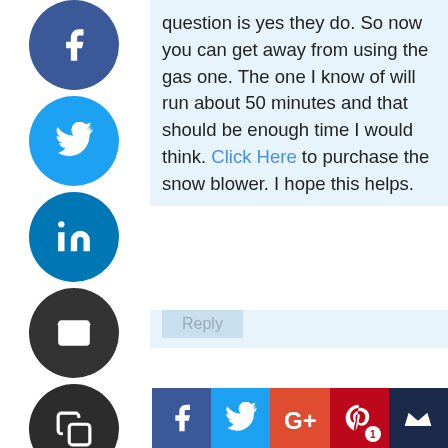[Figure (other): Vertical social sharing sidebar with circular buttons: Facebook (blue), Twitter (light blue), LinkedIn (dark blue), Email (dark gray), Copy (dark gray), Print (dark gray)]
question is yes they do. So now you can get away from using the gas one. The one I know of will run about 50 minutes and that should be enough time I would think. Click Here to purchase the snow blower. I hope this helps.
Reply
Leave a Reply
Your email address will not be published. Required fields are marked *
Comment *
[Figure (other): Bottom share bar showing: 1 Shares count, Facebook share button, Twitter share button, Google+ share button, Pinterest share button with badge '1', Sumo share button]